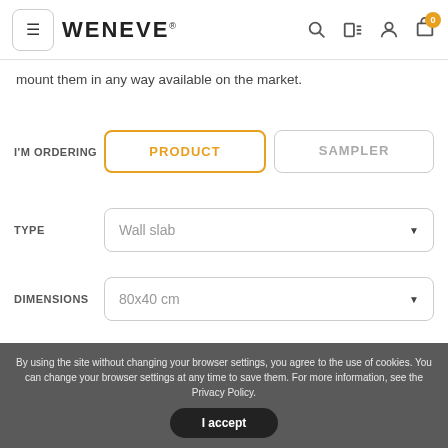WENEVE
mount them in any way available on the market.
I'M ORDERING  PRODUCT  SAMPLER
TYPE  Wall slab
DIMENSIONS  80x40 cm
THICKNESS  1 cm
By using the site without changing your browser settings, you agree to the use of cookies. You can change your browser settings at any time to save them. For more information, see the Privacy Policy.  I accept